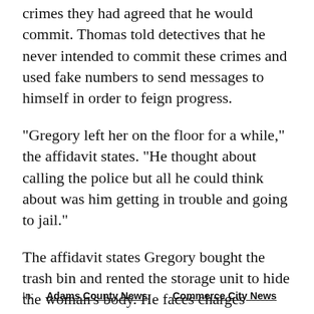crimes they had agreed that he would commit. Thomas told detectives that he never intended to commit these crimes and used fake numbers to send messages to himself in order to feign progress.
"Gregory left her on the floor for a while," the affidavit states. "He thought about calling the police but all he could think about was him getting in trouble and going to jail."
The affidavit states Gregory bought the trash bin and rented the storage unit to hide the woman's body. He faces charges including first-degree murder, tampering with a deceased human body.
In:   Adams County News   Commerce City News